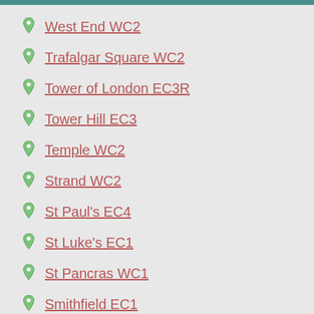West End WC2
Trafalgar Square WC2
Tower of London EC3R
Tower Hill EC3
Temple WC2
Strand WC2
St Paul's EC4
St Luke's EC1
St Pancras WC1
Smithfield EC1
Shoreditch EC2
Shaftesbury Avenue WC2